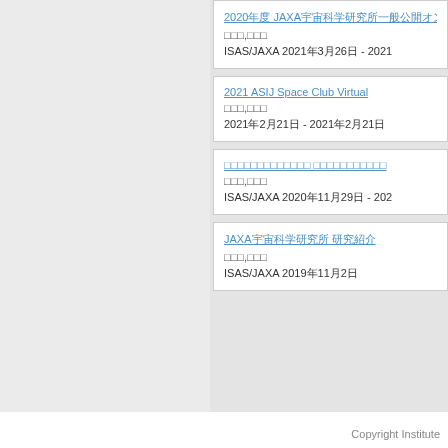2020年度 JAXA宇宙科学研究所一般公開オンラインイベント
□□□,□□□
ISAS/JAXA 2021年3月26日 - 2021
2021 ASIJ Space Club Virtual
□□□,□□□
2021年2月21日 - 2021年2月21日
□□□□□□□□□□□□□ □□□□□□□□□□□
□□□,□□□
ISAS/JAXA 2020年11月29日 - 202
JAXA宇宙科学研究所 研究紹介
□□□,□□□
ISAS/JAXA 2019年11月2日
Copyright Institute